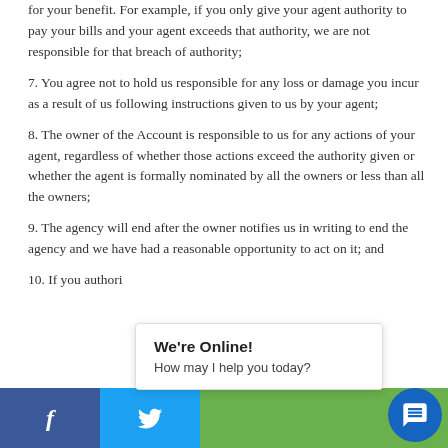for your benefit. For example, if you only give your agent authority to pay your bills and your agent exceeds that authority, we are not responsible for that breach of authority;
7. You agree not to hold us responsible for any loss or damage you incur as a result of us following instructions given to us by your agent;
8. The owner of the Account is responsible to us for any actions of your agent, regardless of whether those actions exceed the authority given or whether the agent is formally nominated by all the owners or less than all the owners;
9. The agency will end after the owner notifies us in writing to end the agency and we have had a reasonable opportunity to act on it; and
10. If you authori...